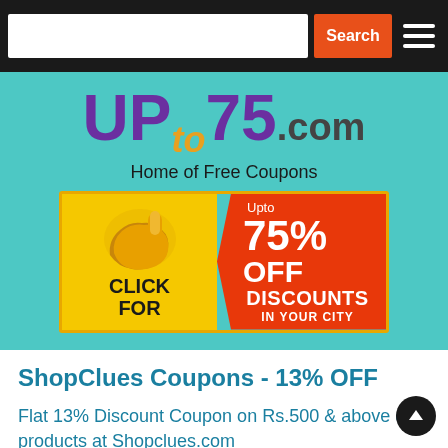[Figure (screenshot): Website navigation bar with search input, orange Search button, and hamburger menu on dark background]
[Figure (logo): UPto75.com logo on teal background with tagline 'Home of Free Coupons' and a yellow/orange click-for-discounts banner showing 'CLICK FOR Upto 75% OFF DISCOUNTS IN YOUR CITY']
ShopClues Coupons - 13% OFF
Flat 13% Discount Coupon on Rs.500 & above on products at Shopclues.com